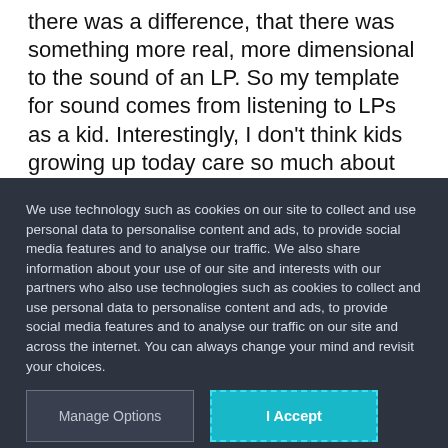there was a difference, that there was something more real, more dimensional to the sound of an LP. So my template for sound comes from listening to LPs as a kid. Interestingly, I don't think kids growing up today care so much about sound quality. They listen to MP3s and iPods all the time and don't buy LPs so they don't have a real reference point for sound.
We use technology such as cookies on our site to collect and use personal data to personalise content and ads, to provide social media features and to analyse our traffic. We also share information about your use of our site and interests with our partners who also use technologies such as cookies to collect and use personal data to personalise content and ads, to provide social media features and to analyse our traffic on our site and across the internet. You can always change your mind and revisit your choices.